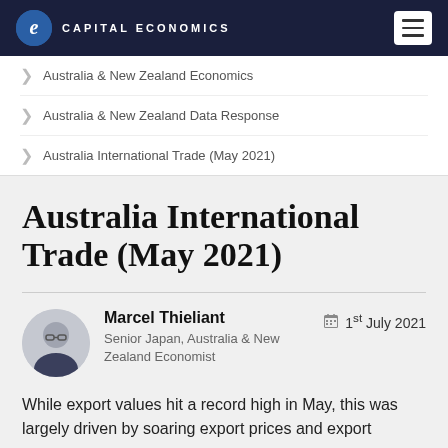CAPITAL ECONOMICS
Australia & New Zealand Economics
Australia & New Zealand Data Response
Australia International Trade (May 2021)
Australia International Trade (May 2021)
Marcel Thieliant
Senior Japan, Australia & New Zealand Economist
1st July 2021
While export values hit a record high in May, this was largely driven by soaring export prices and export